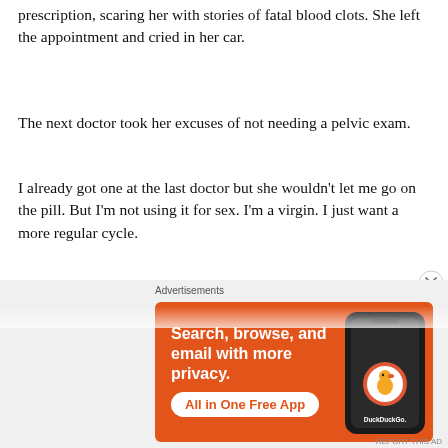prescription, scaring her with stories of fatal blood clots. She left the appointment and cried in her car.
The next doctor took her excuses of not needing a pelvic exam.
I already got one at the last doctor but she wouldn’t let me go on the pill. But I’m not using it for sex. I’m a virgin. I just want a more regular cycle.
The doctor wrote her a prescription without hesitation. The pill made her anxiety spike but she didn’t have to fake migraines anymore
[Figure (screenshot): DuckDuckGo advertisement banner with orange background. Text reads 'Search, browse, and email with more privacy. All in One Free App' with DuckDuckGo logo and a phone mockup on the right side.]